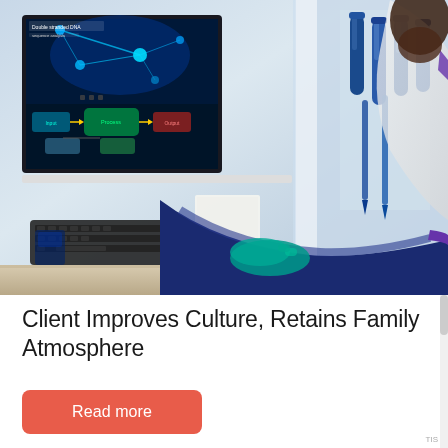[Figure (photo): Laboratory scientist wearing blue gloves and white lab coat working at a computer workstation with a monitor showing DNA/bioinformatics software and flow diagrams. Blue test tubes visible in background on a rack. Lab bench setting.]
Client Improves Culture, Retains Family Atmosphere
Read more